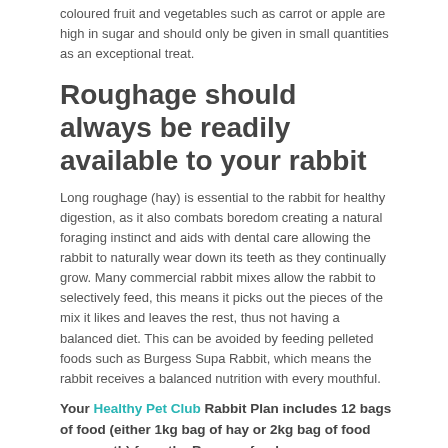coloured fruit and vegetables such as carrot or apple are high in sugar and should only be given in small quantities as an exceptional treat.
Roughage should always be readily available to your rabbit
Long roughage (hay) is essential to the rabbit for healthy digestion, as it also combats boredom creating a natural foraging instinct and aids with dental care allowing the rabbit to naturally wear down its teeth as they continually grow. Many commercial rabbit mixes allow the rabbit to selectively feed, this means it picks out the pieces of the mix it likes and leaves the rest, thus not having a balanced diet. This can be avoided by feeding pelleted foods such as Burgess Supa Rabbit, which means the rabbit receives a balanced nutrition with every mouthful.
Your Healthy Pet Club Rabbit Plan includes 12 bags of food (either 1kg bag of hay or 2kg bag of food per month) from the Burgess food range.